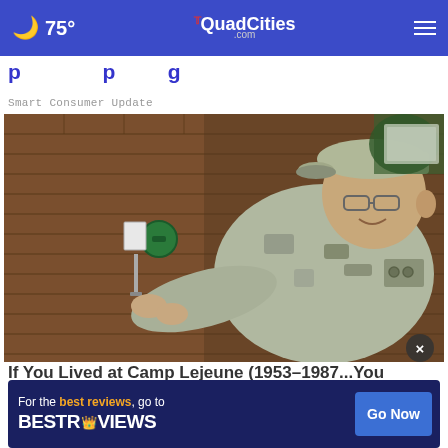🌙 75° | TheQuadCities.com
If You Lived at Camp Lejeune (1953–1987), You May...
Smart Consumer Update
[Figure (photo): A military serviceman in camouflage uniform and cap, leaning toward a brick wall and working on a water valve or pipe fitting with his hands.]
If You Lived at Camp Lejeune (1953–198[?])...You May...
Consumer Comfort
For the best reviews, go to BESTREVIEWS — Go Now (advertisement overlay)